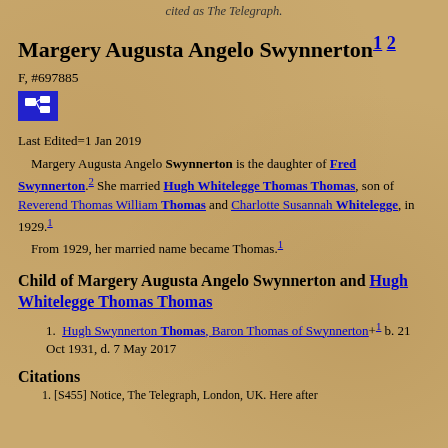cited as The Telegraph.
Margery Augusta Angelo Swynnerton 1 2
F, #697885
Last Edited=1 Jan 2019
Margery Augusta Angelo Swynnerton is the daughter of Fred Swynnerton. 2 She married Hugh Whitelegge Thomas Thomas, son of Reverend Thomas William Thomas and Charlotte Susannah Whitelegge, in 1929. 1 From 1929, her married name became Thomas. 1
Child of Margery Augusta Angelo Swynnerton and Hugh Whitelegge Thomas Thomas
Hugh Swynnerton Thomas, Baron Thomas of Swynnerton +1 b. 21 Oct 1931, d. 7 May 2017
Citations
[S455] Notice, The Telegraph, London, UK. Here after cited as The Telegraph.